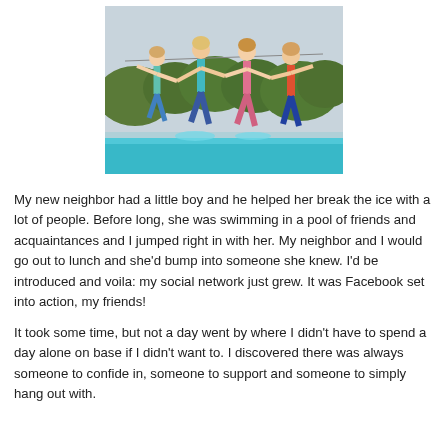[Figure (photo): Four girls in swimsuits jumping joyfully over a swimming pool, holding hands, with trees and an overcast sky in the background.]
My new neighbor had a little boy and he helped her break the ice with a lot of people. Before long, she was swimming in a pool of friends and acquaintances and I jumped right in with her. My neighbor and I would go out to lunch and she'd bump into someone she knew. I'd be introduced and voila: my social network just grew. It was Facebook set into action, my friends!
It took some time, but not a day went by where I didn't have to spend a day alone on base if I didn't want to. I discovered there was always someone to confide in, someone to support and someone to simply hang out with.